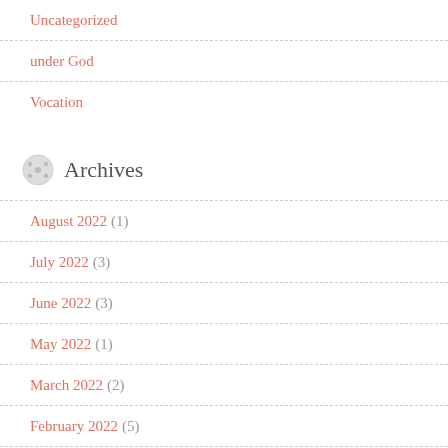Uncategorized
under God
Vocation
Archives
August 2022 (1)
July 2022 (3)
June 2022 (3)
May 2022 (1)
March 2022 (2)
February 2022 (5)